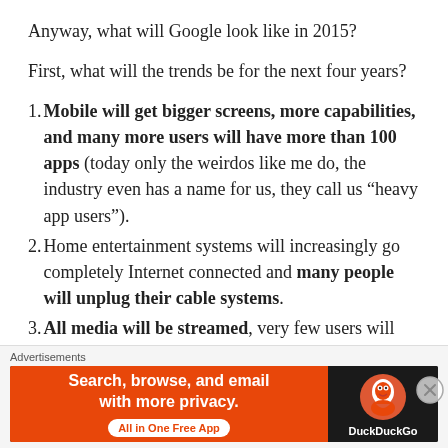Anyway, what will Google look like in 2015?
First, what will the trends be for the next four years?
1. Mobile will get bigger screens, more capabilities, and many more users will have more than 100 apps (today only the weirdos like me do, the industry even has a name for us, they call us “heavy app users”).
2. Home entertainment systems will increasingly go completely Internet connected and many people will unplug their cable systems.
3. All media will be streamed, very few users will
Advertisements
[Figure (screenshot): DuckDuckGo advertisement banner: orange left panel reading 'Search, browse, and email with more privacy. All in One Free App' and dark right panel with DuckDuckGo duck logo and brand name.]